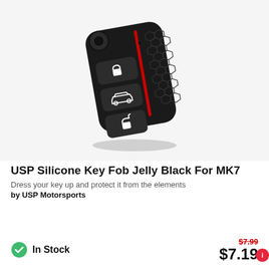[Figure (photo): Black silicone key fob cover for VW MK7 with hexagon texture pattern on right side and red stripe, showing three buttons with lock, car, and unlock icons]
USP Silicone Key Fob Jelly Black For MK7
Dress your key up and protect it from the elements
by USP Motorsports
In Stock
$7.99
$7.19